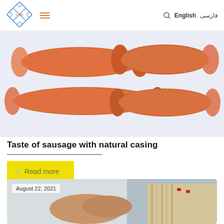[Figure (logo): ITK company logo — diamond-shaped chain-link pattern with 'I.T.K' text in orange in the center]
[Figure (infographic): Navigation bar hamburger menu icon (three horizontal orange lines)]
فارسی  English
[Figure (photo): Four sausages/frankfurters arranged in two rows on a white/light background — showing sausages with natural casing]
Taste of sausage with natural casing
Read more
[Figure (photo): Person in white coat handling natural sausage casings, with coiled natural casings visible, dated August 22, 2021]
August 22, 2021